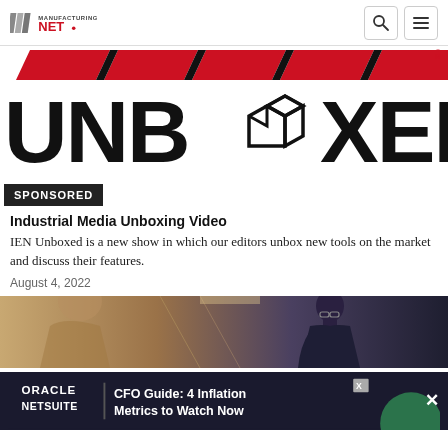Manufacturing.net
[Figure (logo): IEN UNBOXED logo — black text on white background with red diagonal stripe bar and an open box icon replacing the letter O]
SPONSORED
Industrial Media Unboxing Video
IEN Unboxed is a new show in which our editors unbox new tools on the market and discuss their features.
August 4, 2022
[Figure (photo): Photo of a person wearing glasses and a dark jacket, looking down, in an indoor corridor setting]
[Figure (screenshot): Oracle NetSuite advertisement banner: CFO Guide: 4 Inflation Metrics to Watch Now, with green circular graphic element]